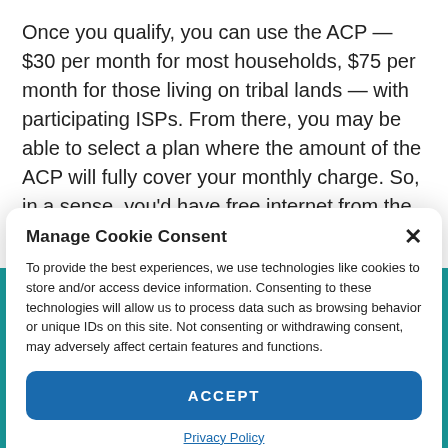Once you qualify, you can use the ACP — $30 per month for most households, $75 per month for those living on tribal lands — with participating ISPs. From there, you may be able to select a plan where the amount of the ACP will fully cover your monthly charge. So, in a sense, you'd have free internet from the government.
Manage Cookie Consent
To provide the best experiences, we use technologies like cookies to store and/or access device information. Consenting to these technologies will allow us to process data such as browsing behavior or unique IDs on this site. Not consenting or withdrawing consent, may adversely affect certain features and functions.
ACCEPT
Privacy Policy